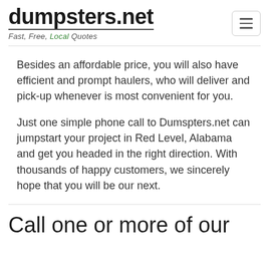dumpsters.net — Fast, Free, Local Quotes
Besides an affordable price, you will also have efficient and prompt haulers, who will deliver and pick-up whenever is most convenient for you.
Just one simple phone call to Dumspters.net can jumpstart your project in Red Level, Alabama and get you headed in the right direction. With thousands of happy customers, we sincerely hope that you will be our next.
Call one or more of our